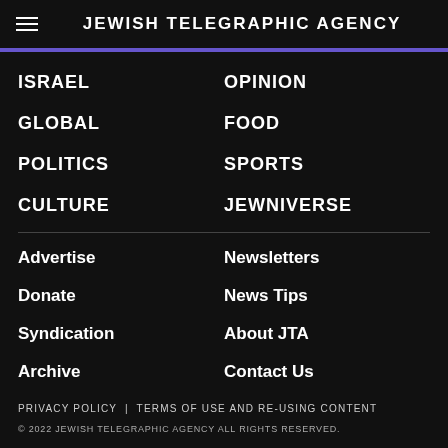JEWISH TELEGRAPHIC AGENCY
ISRAEL
OPINION
GLOBAL
FOOD
POLITICS
SPORTS
CULTURE
JEWNIVERSE
Advertise
Newsletters
Donate
News Tips
Syndication
About JTA
Archive
Contact Us
PRIVACY POLICY | TERMS OF USE AND RE-USING CONTENT
© 2022 JEWISH TELEGRAPHIC AGENCY ALL RIGHTS RESERVED.